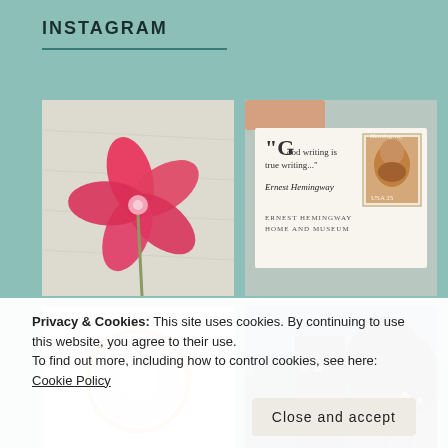INSTAGRAM
[Figure (photo): Pink frangipani flower lying on a white fabric surface]
[Figure (photo): Hemingway Home and Museum magnet/tile with quote 'Good writing is true writing...' and a USA 25 cent Hemingway stamp, held by fingers over a table]
[Figure (photo): A pink donut or plate with gold ring on a light background]
[Figure (photo): Night or dusk exterior scene with trees and building silhouette]
[Figure (photo): Partially visible bottom-left photo]
[Figure (photo): Partially visible bottom-right photo]
Privacy & Cookies: This site uses cookies. By continuing to use this website, you agree to their use.
To find out more, including how to control cookies, see here: Cookie Policy
Close and accept